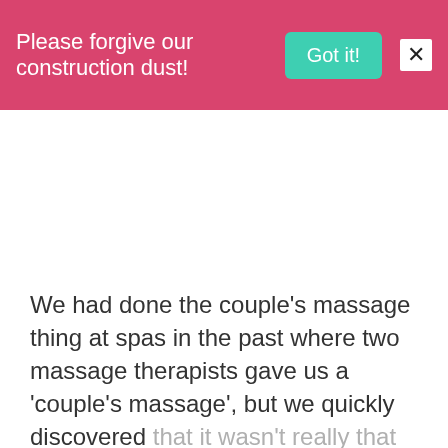Please forgive our construction dust!  Got it!  X
We had done the couple’s massage thing at spas in the past where two massage therapists gave us a ‘couple’s massage’, but we quickly discovered that it wasn’t really that different from a solitary massage and often it’s more expensive in fact, as